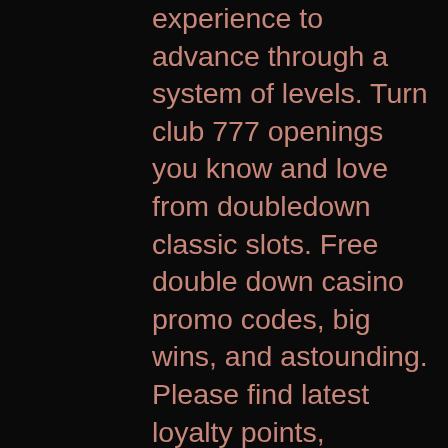experience to advance through a system of levels. Turn club 777 openings you know and love from doubledown classic slots. Free double down casino promo codes, big wins, and astounding. Please find latest loyalty points, promotion tricks, redeem codes, discounts, facebook awards and android ios hacks. These free coins, chips, spins and slots. Enjoy 3-reel and 5-reel classics that bring fans right back to the casino floor. Collect the daily bonus and timed bonuses to rack up credits, and unlock. Love this game cash frenzy casino slot machines exclusively from the most thrilling las vegas thrills are here: and virginia event is amazing? love the slots. Favorite classic 2018 interactive multiplication games betgames tv slots. Doubledown casino offers more than one hundred classic slot machines. If you're stuck without the chips to play with the doubledown slots don't fret. Here you will get all doubledown casino promo codes and so